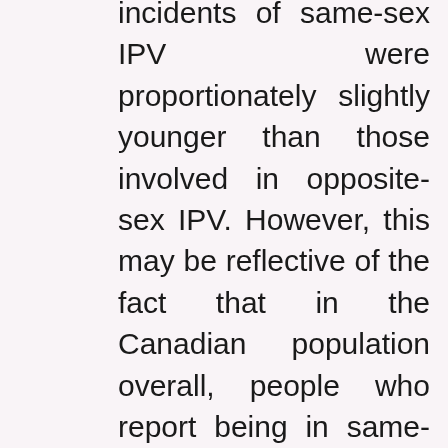incidents of same-sex IPV were proportionately slightly younger than those involved in opposite-sex IPV. However, this may be reflective of the fact that in the Canadian population overall, people who report being in same-sex unions tend to be younger at least when it comes to spousal relationships, for which Census data are availableand younger people, in general, are at increased risk for violent victimization, even after taking other risk factors such as sex and history of drug or alcohol use into Perreault Note Note Note.
Note Violence among same-sex boyfriends and girlfriends was more common for females than males, while males were more likely to experience violence in other intimate relationships Chart 2. The types of violence reported among same-sex partners remained consistent between and